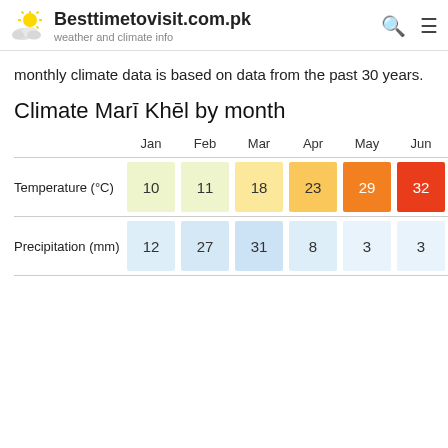Besttimetovisit.com.pk — weather and climate info
monthly climate data is based on data from the past 30 years.
Climate Marī Khēl by month
|  | Jan | Feb | Mar | Apr | May | Jun |
| --- | --- | --- | --- | --- | --- | --- |
| Temperature (°C) | 10 | 11 | 18 | 23 | 29 | 32 |
| Precipitation (mm) | 12 | 27 | 31 | 8 | 3 | 3 |